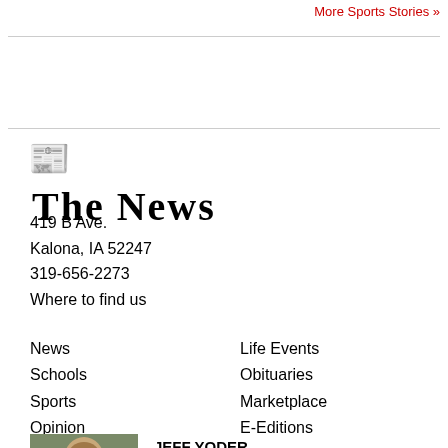More Sports Stories »
[Figure (logo): The News newspaper logo in blackletter/Old English style font]
419 B Ave.
Kalona, IA 52247
319-656-2273
Where to find us
News
Schools
Sports
Opinion
Photo Galleries
Calendar
Life Events
Obituaries
Marketplace
E-Editions
Submit News
[Figure (photo): Headshot of Jeff Yoder, Sports Editor, man with brown hair outdoors]
JEFF YODER
Sports Editor